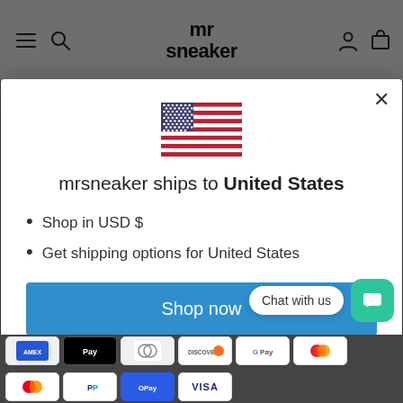mr sneaker
[Figure (illustration): US flag emoji/icon]
mrsneaker ships to United States
Shop in USD $
Get shipping options for United States
Shop now
Change shipping
Chat with us